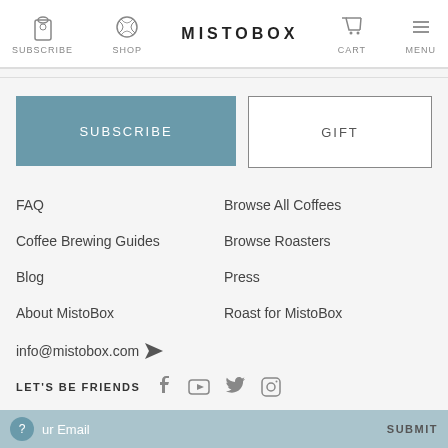SUBSCRIBE  SHOP  MISTOBOX  CART  MENU
SUBSCRIBE
GIFT
FAQ
Browse All Coffees
Coffee Brewing Guides
Browse Roasters
Blog
Press
About MistoBox
Roast for MistoBox
info@mistobox.com
LET'S BE FRIENDS
Your Email  SUBMIT